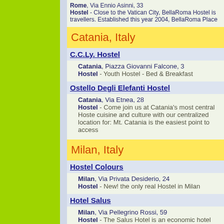Rome, Via Ennio Asinni, 33
Hostel - Close to the Vatican City, BellaRoma Hostel is travellers. Established this year 2004, BellaRoma Place
Catania, Italy
C.C.Ly. Hostel
Catania, Piazza Giovanni Falcone, 3
Hostel - Youth Hostel - Bed & Breakfast
Ostello Degli Elefanti Hostel
Catania, Via Etnea, 28
Hostel - Come join us at Catania's most central Hoste cuisine and culture with our centralized location for: Mt. Catania is the easiest point to access
Milan, Italy
Hostel Colours
Milan, Via Privata Desiderio, 24
Hostel - New! the only real Hostel in Milan
Hotel Salus
Milan, Via Pellegrino Rossi, 59
Hostel - The Salus Hotel is an economic hotel situated little minuteren from the center city